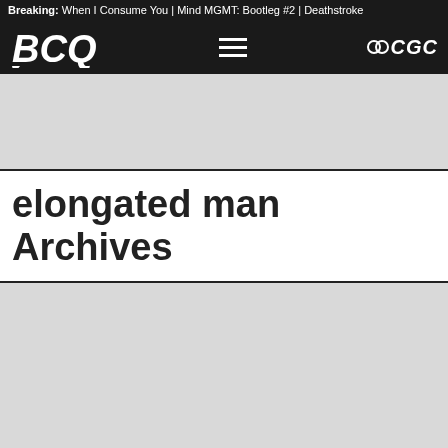Breaking: When I Consume You | Mind MGMT: Bootleg #2 | Deathstroke
[Figure (logo): BCQ logo (white letters on black background) with hamburger menu icon and CGC logo on the right]
[Figure (other): Advertisement placeholder block (light gray)]
elongated man Archives
[Figure (other): Advertisement placeholder block (light gray)]